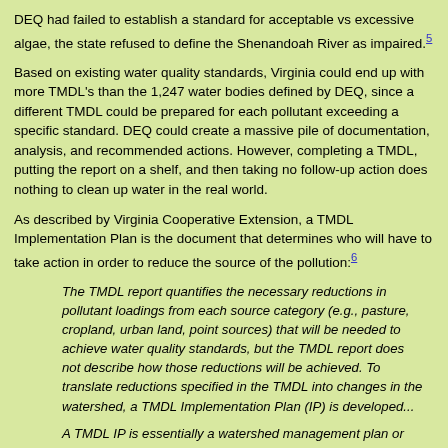DEQ had failed to establish a standard for acceptable vs excessive algae, the state refused to define the Shenandoah River as impaired.[5]
Based on existing water quality standards, Virginia could end up with more TMDL's than the 1,247 water bodies defined by DEQ, since a different TMDL could be prepared for each pollutant exceeding a specific standard. DEQ could create a massive pile of documentation, analysis, and recommended actions. However, completing a TMDL, putting the report on a shelf, and then taking no follow-up action does nothing to clean up water in the real world.
As described by Virginia Cooperative Extension, a TMDL Implementation Plan is the document that determines who will have to take action in order to reduce the source of the pollution:[6]
The TMDL report quantifies the necessary reductions in pollutant loadings from each source category (e.g., pasture, cropland, urban land, point sources) that will be needed to achieve water quality standards, but the TMDL report does not describe how those reductions will be achieved. To translate reductions specified in the TMDL into changes in the watershed, a TMDL Implementation Plan (IP) is developed...
A TMDL IP is essentially a watershed management plan or road map that describes and quantifies the suite of corrective actions to be implemented within a watershed and the time frame and resources that will be needed to implement those actions in order to restore water quality. Corrective actions include those practices or policies that reduce or prevent pollutants from reaching the impaired water body.